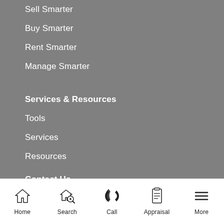Sell Smarter
Buy Smarter
Rent Smarter
Manage Smarter
Services & Resources
Tools
Services
Resources
Contact Us
About Us
Our Team
Careers at PRD
Home | Search | Call | Appraisal | More